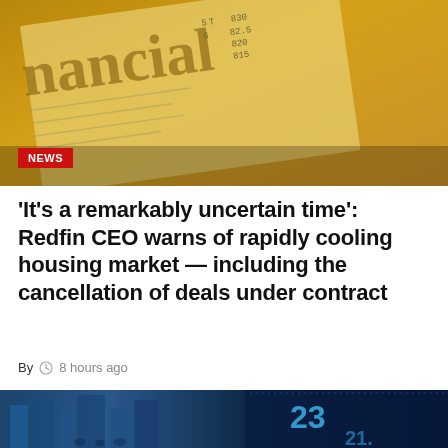[Figure (photo): Close-up of a financial newspaper with stock market numbers and charts, warm golden/yellow tones]
NEWS
'It's a remarkably uncertain time': Redfin CEO warns of rapidly cooling housing market — including the cancellation of deals under contract
By  8 hours ago
[Figure (photo): City street scene with people walking, overlaid with digital stock market ticker board showing numbers 23 and 21, blue tones]